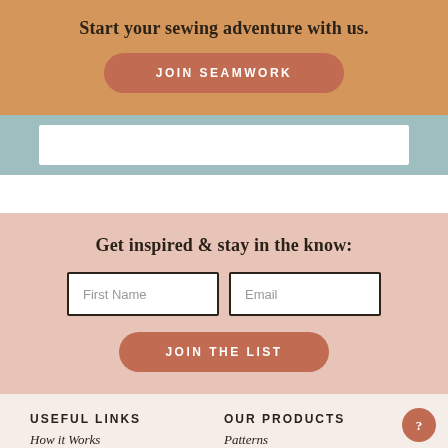Start your sewing adventure with us.
JOIN SEAMWORK
Get inspired & stay in the know:
First Name
Email
JOIN THE LIST
USEFUL LINKS
OUR PRODUCTS
How it Works
Patterns